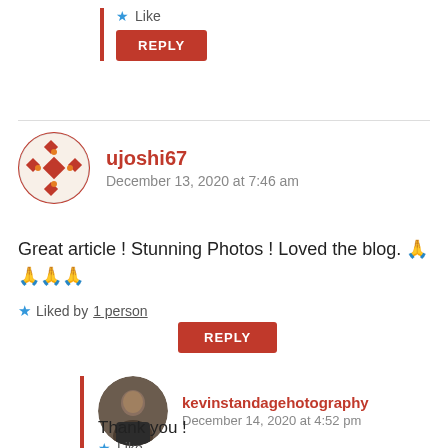★ Like
REPLY
ujoshi67
December 13, 2020 at 7:46 am
Great article ! Stunning Photos ! Loved the blog. 🙏 🙏🙏🙏
★ Liked by 1 person
REPLY
kevinstandagehotography
December 14, 2020 at 4:52 pm
Thank you !
★ Like